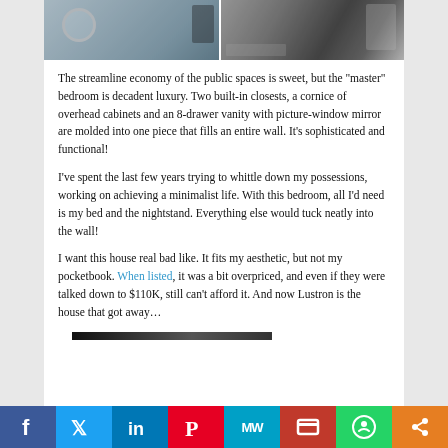[Figure (photo): Two-panel photo strip showing bedroom furniture including drawers and built-in cabinetry]
The streamline economy of the public spaces is sweet, but the "master" bedroom is decadent luxury. Two built-in closests, a cornice of overhead cabinets and an 8-drawer vanity with picture-window mirror are molded into one piece that fills an entire wall. It's sophisticated and functional!
I've spent the last few years trying to whittle down my possessions, working on achieving a minimalist life. With this bedroom, all I'd need is my bed and the nightstand. Everything else would tuck neatly into the wall!
I want this house real bad like. It fits my aesthetic, but not my pocketbook. When listed, it was a bit overpriced, and even if they were talked down to $110K, still can't afford it. And now Lustron is the house that got away…
f | Twitter | in | P | MW | mix | WhatsApp | share